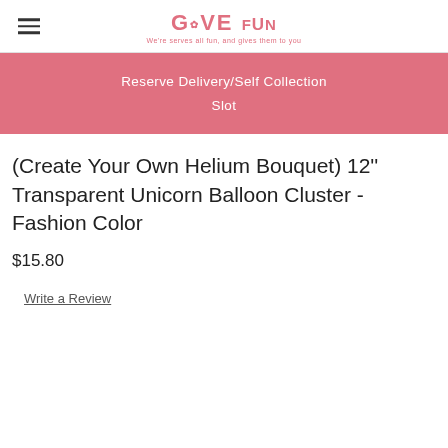GIVE FUN
Reserve Delivery/Self Collection Slot
(Create Your Own Helium Bouquet) 12'' Transparent Unicorn Balloon Cluster - Fashion Color
$15.80
Write a Review